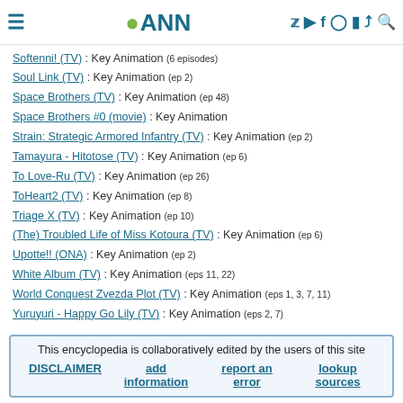ANN - Anime News Network header with logo, hamburger menu, and social/nav icons
Softenni! (TV) : Key Animation (6 episodes)
Soul Link (TV) : Key Animation (ep 2)
Space Brothers (TV) : Key Animation (ep 48)
Space Brothers #0 (movie) : Key Animation
Strain: Strategic Armored Infantry (TV) : Key Animation (ep 2)
Tamayura - Hitotose (TV) : Key Animation (ep 6)
To Love-Ru (TV) : Key Animation (ep 26)
ToHeart2 (TV) : Key Animation (ep 8)
Triage X (TV) : Key Animation (ep 10)
(The) Troubled Life of Miss Kotoura (TV) : Key Animation (ep 6)
Upotte!! (ONA) : Key Animation (ep 2)
White Album (TV) : Key Animation (eps 11, 22)
World Conquest Zvezda Plot (TV) : Key Animation (eps 1, 3, 7, 11)
Yuruyuri - Happy Go Lily (TV) : Key Animation (eps 2, 7)
This encyclopedia is collaboratively edited by the users of this site
DISCLAIMER | add information | report an error | lookup sources
given name: A B C D E F G H I J K L M N O P Q R S T U V W X Y Z